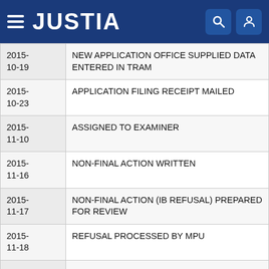JUSTIA
| Date | Event |
| --- | --- |
| 2015-10-19 | NEW APPLICATION OFFICE SUPPLIED DATA ENTERED IN TRAM |
| 2015-10-23 | APPLICATION FILING RECEIPT MAILED |
| 2015-11-10 | ASSIGNED TO EXAMINER |
| 2015-11-16 | NON-FINAL ACTION WRITTEN |
| 2015-11-17 | NON-FINAL ACTION (IB REFUSAL) PREPARED FOR REVIEW |
| 2015-11-18 | REFUSAL PROCESSED BY MPU |
| 2015-11-18 | NON-FINAL ACTION MAILED - REFUSAL SENT TO IB |